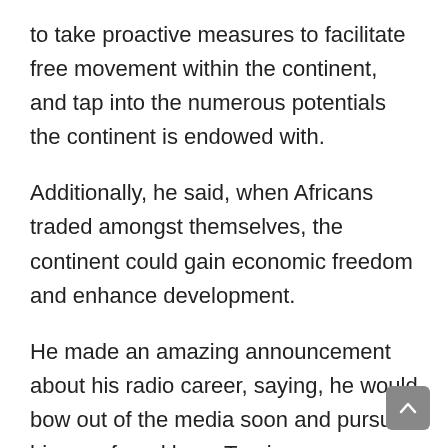to take proactive measures to facilitate free movement within the continent, and tap into the numerous potentials the continent is endowed with.
Additionally, he said, when Africans traded amongst themselves, the continent could gain economic freedom and enhance development.
He made an amazing announcement about his radio career, saying, he would bow out of the media soon and pursue his new found love, Tourism.
The Drive Time Host on Okay FM, challenged the media in Ghana to live up to its responsibility as the fourth estate of the realm.